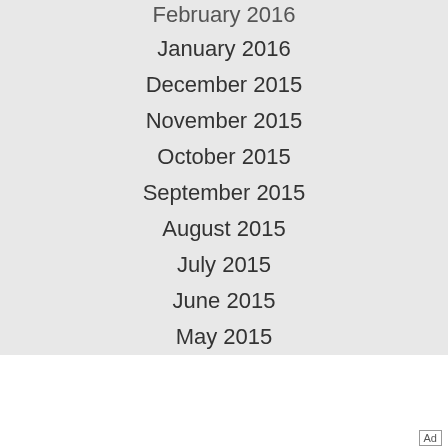February 2016
January 2016
December 2015
November 2015
October 2015
September 2015
August 2015
July 2015
June 2015
May 2015
April 2015
March 2015
February 2015
[Figure (other): Green CONTACT US advertisement banner with text: Get recommendations on what will be best for your urgent care practice.]